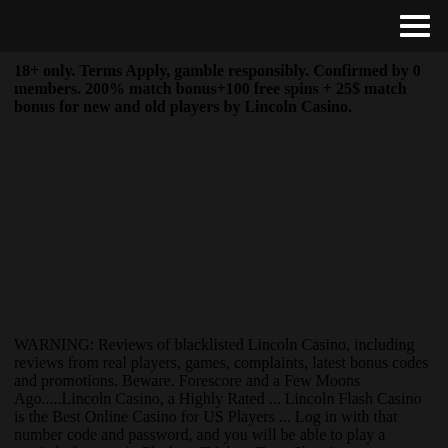[hamburger menu icon]
18+ only. Terms Apply, gamble responsibly. Confirmed by 0 members. 200% match bonus+100 free spins + 25$ match bonus for new and old players by Lincoln Casino.
WARNING: Reviews of blacklisted Lincoln Casino, including reviews from real players, games, complaints, latest bonus codes and promotions. Beware. Forescore and a Few Moons Ago.....Lincoln Casino, a Highly Rated ... Lincoln Flash Casino is the Best Online Casino for US Players ... Log in with that number code and password, and you will be able to play a myriad of games in Flash. ... Trick or Treat Slots is